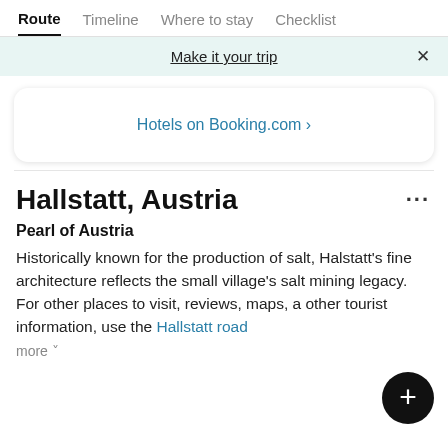Route  Timeline  Where to stay  Checklist
Make it your trip  ×
Hotels on Booking.com ›
Hallstatt, Austria
Pearl of Austria
Historically known for the production of salt, Halstatt's fine architecture reflects the small village's salt mining legacy. For other places to visit, reviews, maps, a other tourist information, use the Hallstatt road
more ˅